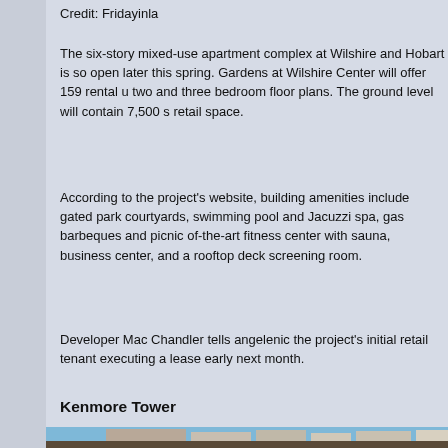Credit: Fridayinla
The six-story mixed-use apartment complex at Wilshire and Hobart is so open later this spring. Gardens at Wilshire Center will offer 159 rental u two and three bedroom floor plans. The ground level will contain 7,500 s retail space.
According to the project’s website, building amenities include gated park courtyards, swimming pool and Jacuzzi spa, gas barbeques and picnic of-the-art fitness center with sauna, business center, and a rooftop deck screening room.
Developer Mac Chandler tells angelenic the project’s initial retail tenant executing a lease early next month.
Kenmore Tower
[Figure (photo): Construction site photo showing excavation/foundation work with formwork/rebar in foreground, and buildings/trees in background under blue sky.]